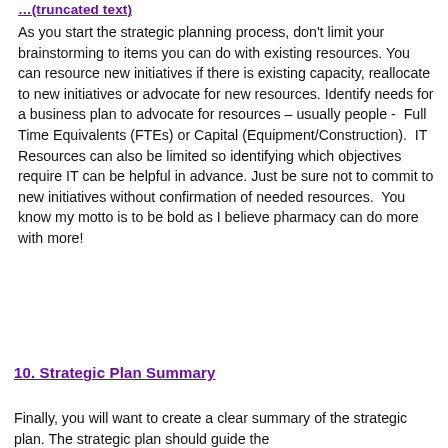…(truncated header link)
As you start the strategic planning process, don't limit your brainstorming to items you can do with existing resources.  You can resource new initiatives if there is existing capacity, reallocate to new initiatives or advocate for new resources. Identify needs for a business plan to advocate for resources – usually people -  Full Time Equivalents (FTEs) or Capital (Equipment/Construction).  IT Resources can also be limited so identifying which objectives require IT can be helpful in advance. Just be sure not to commit to new initiatives without confirmation of needed resources.  You know my motto is to be bold as I believe pharmacy can do more with more!
10. Strategic Plan Summary
Finally, you will want to create a clear summary of the strategic plan. The strategic plan should guide the…